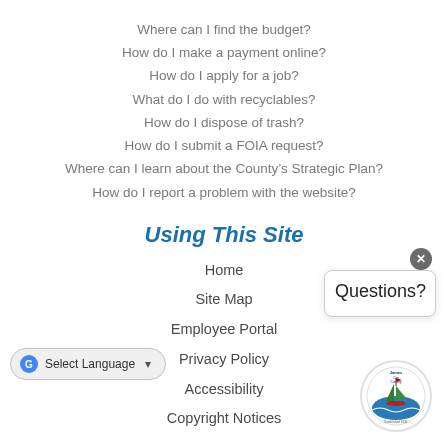Where can I find the budget?
How do I make a payment online?
How do I apply for a job?
What do I do with recyclables?
How do I dispose of trash?
How do I submit a FOIA request?
Where can I learn about the County's Strategic Plan?
How do I report a problem with the website?
Using This Site
Home
Site Map
Employee Portal
Privacy Policy
Accessibility
Copyright Notices
[Figure (other): Questions? chat popup widget with close button]
[Figure (logo): James City County circular logo with sailboat and flag imagery]
[Figure (other): Google Translate Select Language dropdown widget]